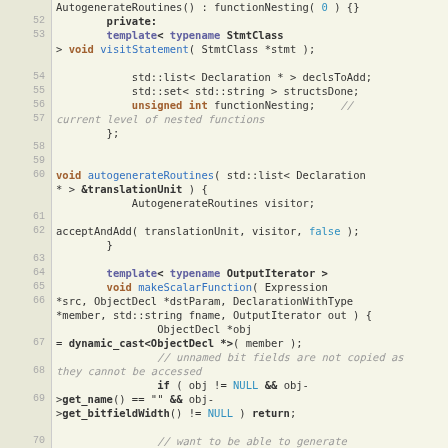[Figure (screenshot): Source code listing showing C++ class member functions and code, lines 51-72, with syntax highlighting. Includes AutogenerateRoutines constructor, private members, visitStatement template, autogenerateRoutines function, and makeScalarFunction template method.]